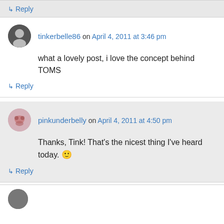↳ Reply
tinkerbelle86 on April 4, 2011 at 3:46 pm
what a lovely post, i love the concept behind TOMS
↳ Reply
pinkunderbelly on April 4, 2011 at 4:50 pm
Thanks, Tink! That's the nicest thing I've heard today. 🙂
↳ Reply